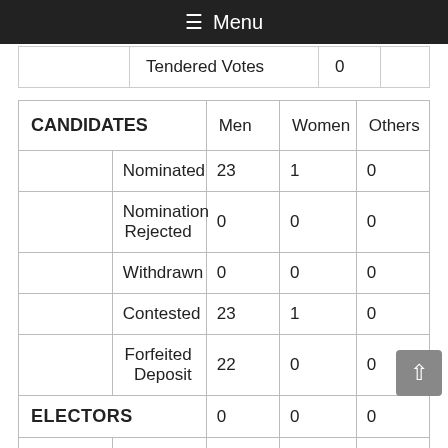≡ Menu
|  | Tendered Votes | 0 |  |
| --- | --- | --- | --- |
| CANDIDATES | Men | Women | Others |
| --- | --- | --- | --- |
|  | Nominated | 23 | 1 | 0 |
|  | Nomination Rejected | 0 | 0 | 0 |
|  | Withdrawn | 0 | 0 | 0 |
|  | Contested | 23 | 1 | 0 |
|  | Forfeited Deposit | 22 | 0 | 0 |
| ELECTORS |  | 0 | 0 | 0 |